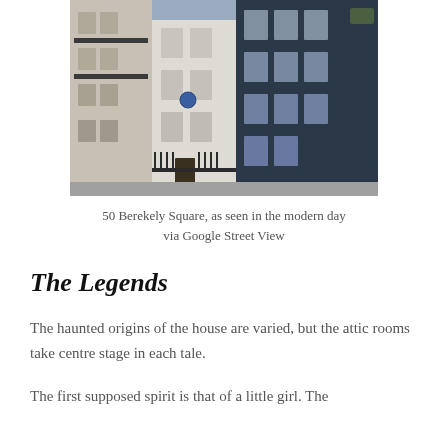[Figure (photo): Street-level photograph of 50 Berkeley Square, a white townhouse flanked by a cream building on the left and a dark navy building on the right, showing a blue heritage plaque on the white facade, iron railings at street level, viewed from across the street in modern day via Google Street View.]
50 Berekely Square, as seen in the modern day via Google Street View
The Legends
The haunted origins of the house are varied, but the attic rooms take centre stage in each tale.
The first supposed spirit is that of a little girl. The